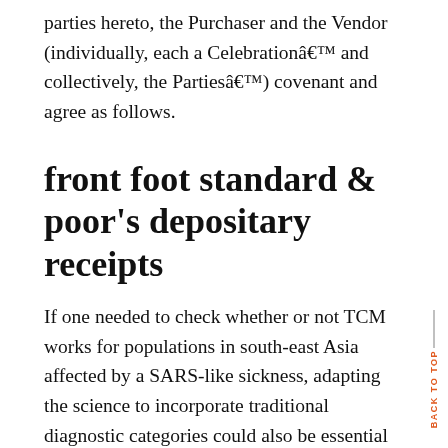parties hereto, the Purchaser and the Vendor (individually, each a Celebrationâ€ and collectively, the Partiesâ€) covenant and agree as follows.
front foot standard & poor’s depositary receipts
If one needed to check whether or not TCM works for populations in south-east Asia affected by a SARS-like sickness, adapting the science to incorporate traditional diagnostic categories could also be essential for its final external validity. Your Return & Refund Policies must be fair, clear, and easily located on your website or within your app.